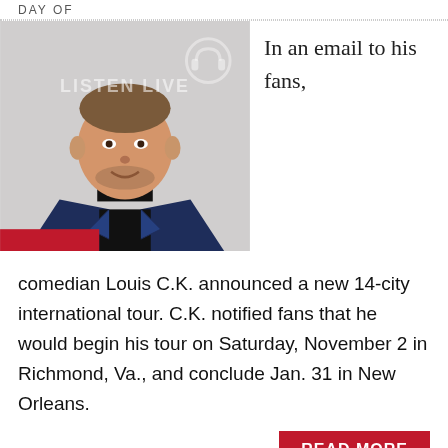DAY OF
[Figure (photo): Portrait photo of comedian Louis C.K. wearing a navy blue blazer over a black shirt, smiling, against a light background. Overlay text reads LISTEN LIVE.]
In an email to his fans,
comedian Louis C.K. announced a new 14-city international tour. C.K. notified fans that he would begin his tour on Saturday, November 2 in Richmond, Va., and conclude Jan. 31 in New Orleans.
READ MORE
NETFLIX DROPS FIRST FULL